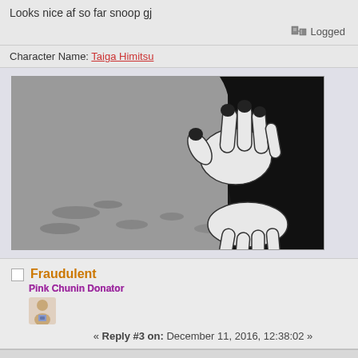Looks nice af so far snoop gj
Logged
Character Name: Taiga Himitsu
[Figure (illustration): Black and white anime-style illustration showing two hands with dark fingernails reaching/grasping, with a gray textured background.]
Fraudulent
Pink Chunin Donator
« Reply #3 on: December 11, 2016, 12:38:02 »